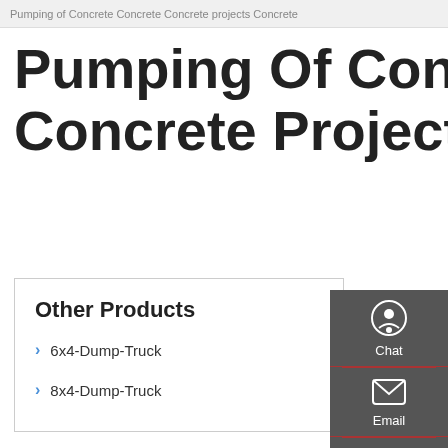Pumping of Concrete Concrete Concrete projects Concrete
Pumping Of Concrete Concrete Concrete Projects Concrete
Other Products
6x4-Dump-Truck
8x4-Dump-Truck